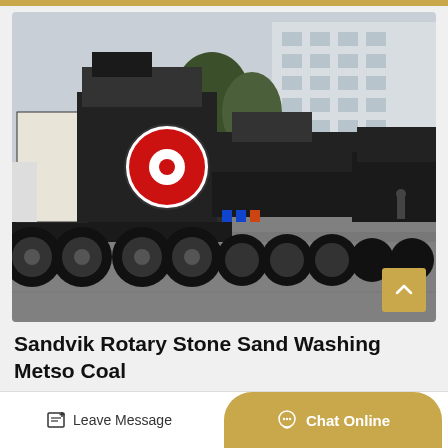[Figure (photo): Multiple large mobile crushing/screening machines mounted on heavy-duty truck trailers lined up in a paved yard outside an industrial building. The foreground machine has a prominent red and white circular flywheel. Trees and a multi-story building are visible in the background.]
Sandvik Rotary Stone Sand Washing Metso Coal Mining...
Leave Message
Chat Online